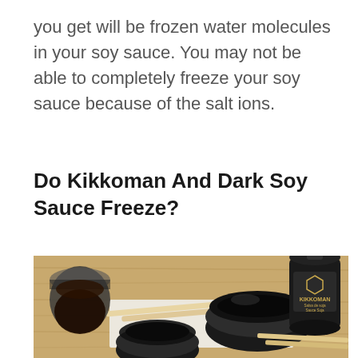you get will be frozen water molecules in your soy sauce. You may not be able to completely freeze your soy sauce because of the salt ions.
Do Kikkoman And Dark Soy Sauce Freeze?
[Figure (photo): A photo showing a Kikkoman soy sauce bottle, black ceramic dipping bowls, and chopsticks on a wooden table surface.]